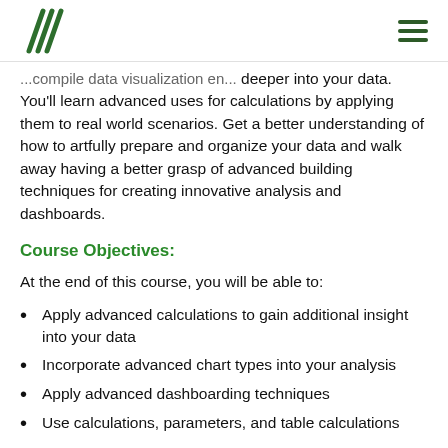Logo and navigation header
deeper into your data. You'll learn advanced uses for calculations by applying them to real world scenarios. Get a better understanding of how to artfully prepare and organize your data and walk away having a better grasp of advanced building techniques for creating innovative analysis and dashboards.
Course Objectives:
At the end of this course, you will be able to:
Apply advanced calculations to gain additional insight into your data
Incorporate advanced chart types into your analysis
Apply advanced dashboarding techniques
Use calculations, parameters, and table calculations